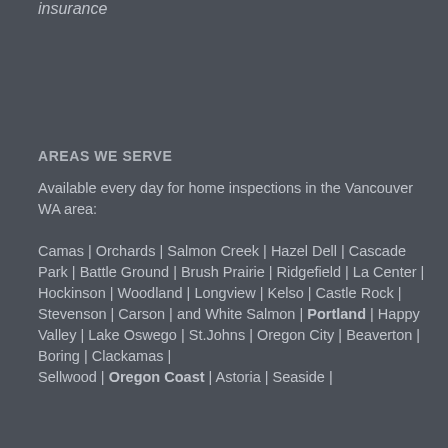insurance
AREAS WE SERVE
Available every day for home inspections in the Vancouver WA area:

Camas | Orchards | Salmon Creek | Hazel Dell | Cascade Park | Battle Ground | Brush Prairie | Ridgefield | La Center | Hockinson | Woodland | Longview | Kelso | Castle Rock | Stevenson | Carson | and White Salmon | Portland | Happy Valley | Lake Oswego | St.Johns | Oregon City | Beaverton | Boring | Clackamas | Sellwood | Oregon Coast | Astoria | Seaside |